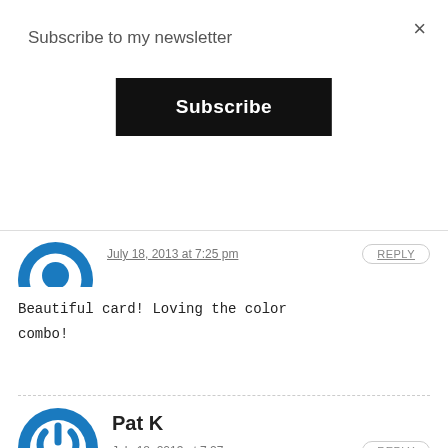Subscribe to my newsletter
Subscribe
×
July 18, 2013 at 7:25 pm
REPLY
Beautiful card! Loving the color combo!
Pat K
July 18, 2013 at 7:27 pm
REPLY
Love the watercolor pencil resist technique on the tag. Your card is lovely!